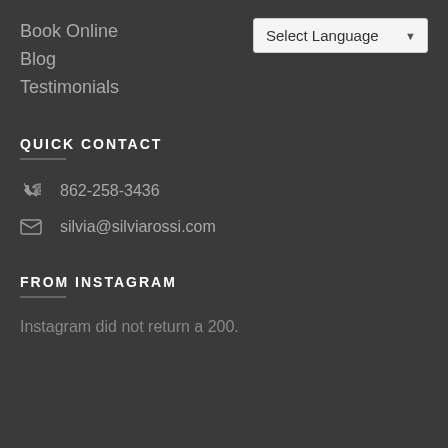Book Online
Blog
Testimonials
[Figure (other): Select Language dropdown widget]
QUICK CONTACT
862-258-3436
silvia@silviarossi.com
FROM INSTAGRAM
Instagram did not return a 200.